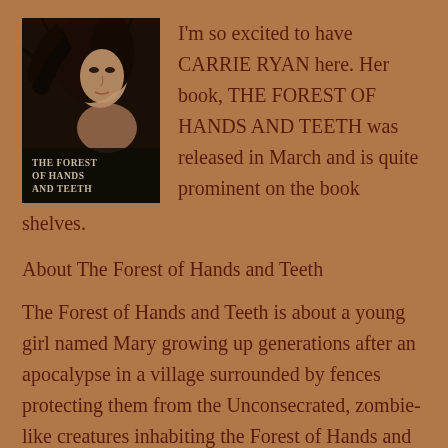[Figure (photo): Book cover of 'The Forest of Hands and Teeth' showing a young woman with dark hair, with the book title text overlay at the bottom]
I'm so excited to have CARRIE RYAN here. Her book, THE FOREST OF HANDS AND TEETH was released in March and is quite prominent on the book shelves.
About The Forest of Hands and Teeth
The Forest of Hands and Teeth is about a young girl named Mary growing up generations after an apocalypse in a village surrounded by fences protecting them from the Unconsecrated, zombie-like creatures inhabiting the Forest of Hands and Teeth. Cut